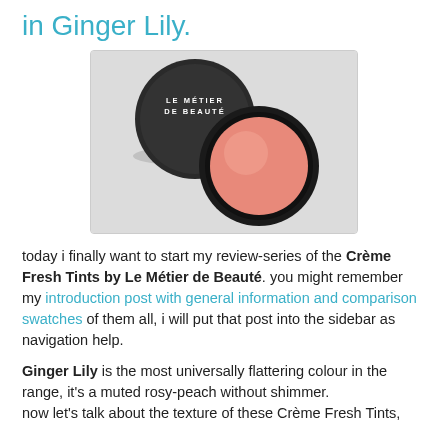in Ginger Lily.
[Figure (photo): A round compact of Le Métier de Beauté Crème Fresh Tint in Ginger Lily. The lid (black with white text reading LE MÉTIER DE BEAUTÉ) is placed to the upper left, and the open compact showing a muted rosy-peach blush is to the lower right.]
today i finally want to start my review-series of the Crème Fresh Tints by Le Métier de Beauté. you might remember my introduction post with general information and comparison swatches of them all, i will put that post into the sidebar as navigation help.
Ginger Lily is the most universally flattering colour in the range, it's a muted rosy-peach without shimmer.
now let's talk about the texture of these Crème Fresh Tints,